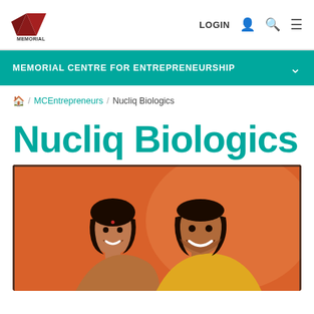Memorial University — LOGIN
MEMORIAL CENTRE FOR ENTREPRENEURSHIP
Home / MCEntrepreneurs / Nucliq Biologics
Nucliq Biologics
[Figure (photo): Two people smiling against an orange background — founders of Nucliq Biologics]